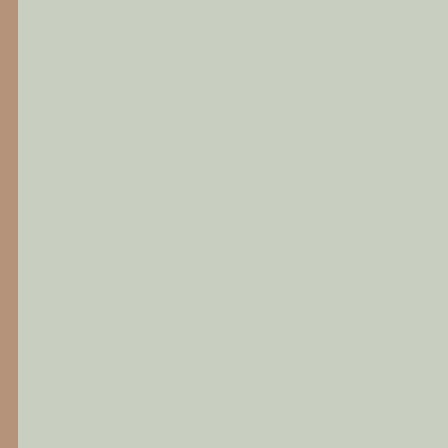| Type | Title |
| --- | --- |
| production | Out in the Tropics (2013) |
| production | Sueño de una noc... Teatro Estudio (-2... |
| production | Talco, un drama d... April 16, 2010) |
| production | Tio Vania (Miami D... August 1, 2016) |
| production | Tres viudas en un... February 1, 2018) |
| production | Últimos días de un... Performing Arts C... |
| writtenwork | Baño de luna (Play... |
| writtenwork | Elektra: La danza e... Version) |
| writtenwork | Gas en los poros (... |
| writtenwork | La casa de los esp... |
| writtenwork | La sal de los muer... |